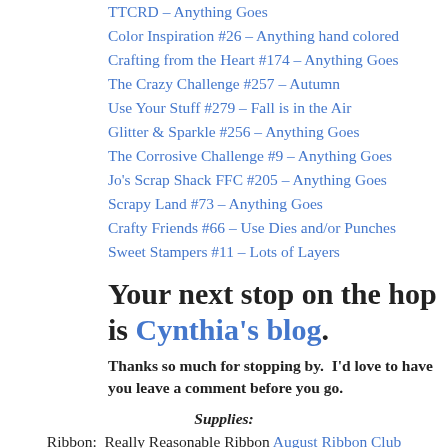TTCRD – Anything Goes
Color Inspiration #26 – Anything hand colored
Crafting from the Heart #174 – Anything Goes
The Crazy Challenge #257 – Autumn
Use Your Stuff #279 – Fall is in the Air
Glitter & Sparkle #256 – Anything Goes
The Corrosive Challenge #9 – Anything Goes
Jo's Scrap Shack FFC #205 – Anything Goes
Scrapy Land #73 – Anything Goes
Crafty Friends #66 – Use Dies and/or Punches
Sweet Stampers #11 – Lots of Layers
Your next stop on the hop is Cynthia's blog.
Thanks so much for stopping by.  I'd love to have you leave a comment before you go.
Supplies:
Ribbon:  Really Reasonable Ribbon August Ribbon Club Assortment